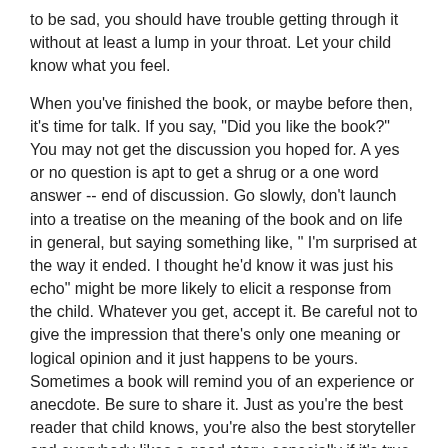to be sad, you should have trouble getting through it without at least a lump in your throat. Let your child know what you feel.
When you've finished the book, or maybe before then, it's time for talk. If you say, "Did you like the book?" You may not get the discussion you hoped for. A yes or no question is apt to get a shrug or a one word answer -- end of discussion. Go slowly, don't launch into a treatise on the meaning of the book and on life in general, but saying something like, " I'm surprised at the way it ended. I thought he'd know it was just his echo" might be more likely to elicit a response from the child. Whatever you get, accept it. Be careful not to give the impression that there's only one meaning or logical opinion and it just happens to be yours. Sometimes a book will remind you of an experience or anecdote. Be sure to share it. Just as you're the best reader that child knows, you're also the best storyteller and everybody likes a good story, especially if it's true, or almost true.
You may think your job is finished once the child has learned to read, but it's just begun. Don't punish the child for learning to read by taking away something both of you enjoyed: reading aloud to your child. To be sure, when a child is mastering the art of reading, he/she needs plenty of opportunities to do so at home as well as at school, but research findings indicate that children who are read